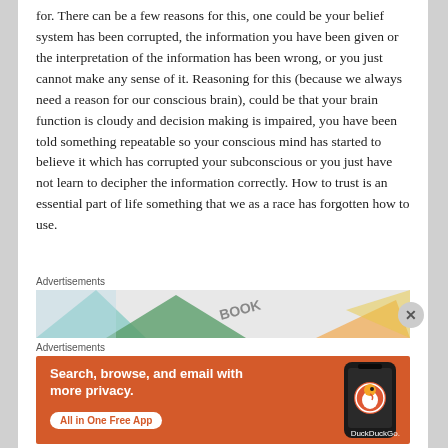for. There can be a few reasons for this, one could be your belief system has been corrupted, the information you have been given or the interpretation of the information has been wrong, or you just cannot make any sense of it. Reasoning for this (because we always need a reason for our conscious brain), could be that your brain function is cloudy and decision making is impaired, you have been told something repeatable so your conscious mind has started to believe it which has corrupted your subconscious or you just have not learn to decipher the information correctly. How to trust is an essential part of life something that we as a race has forgotten how to use.
Advertisements
[Figure (other): Partial advertisement banner showing colorful geometric shapes and text 'BOOK']
Advertisements
[Figure (other): DuckDuckGo advertisement: orange background with text 'Search, browse, and email with more privacy. All in One Free App' and a phone graphic with DuckDuckGo logo]